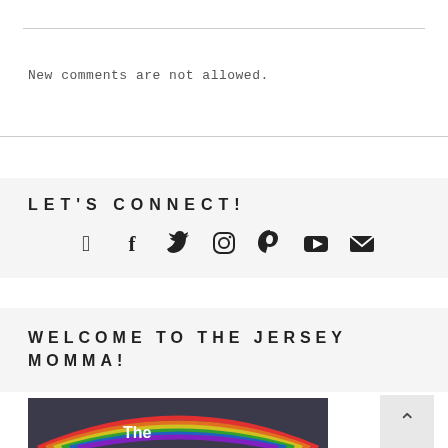New comments are not allowed.
LET'S CONNECT!
[Figure (infographic): Social media icons row: Facebook, Twitter, Instagram, Pinterest, YouTube, Email]
WELCOME TO THE JERSEY MOMMA!
[Figure (photo): Chalk rainbow drawing on dark surface with white text 'The']